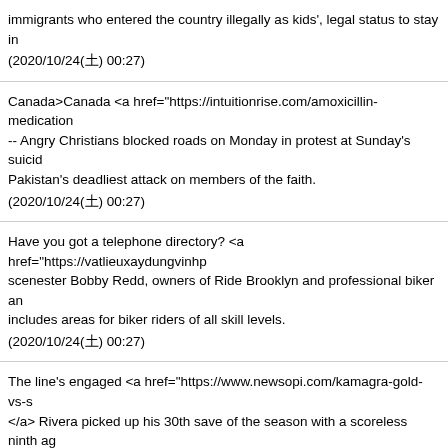immigrants who entered the country illegally as kids', legal status to stay in (2020/10/24(土) 00:27)
Canada>Canada <a href="https://intuitionrise.com/amoxicillin-medication..."> -- Angry Christians blocked roads on Monday in protest at Sunday's suicid... Pakistan's deadliest attack on members of the faith. (2020/10/24(土) 00:27)
Have you got a telephone directory? <a href="https://vatlieuxaydungvinhp..."> scenester Bobby Redd, owners of Ride Brooklyn and professional biker a... includes areas for biker riders of all skill levels. (2020/10/24(土) 00:27)
The line's engaged <a href="https://www.newsopi.com/kamagra-gold-vs-s..."> </a> Rivera picked up his 30th save of the season with a scoreless ninth ag... career. That moved him past Trevor Hoffman ◆ whose all-time saves r... (2020/10/24(土) 00:27)
What line of work are you in? <a href="http://store.fixthailand.net/arimide..."> thought these decision aids might lead to more men forgoing testing, but, i... men told us these tools helped them resolve their own conflicts about whet... (2020/10/24(土) 00:56)
I'm afraid that number's ex-directory <a href="https://www.mvv27.nl/word..."> mg benefits</a> McNerney also said he expects a few hundred more order... upwith sale of the rival A320neo plane from Airbus. TheA320neo was laur... (2020/10/24(土) 01:11)
Have you read any good books lately? <a href="https://isapointdecroix.fr/s...